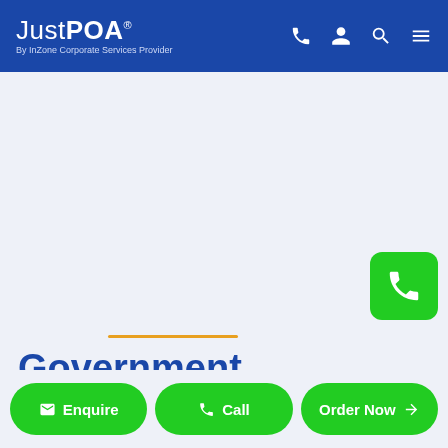JustPOA® By InZone Corporate Services Provider
Government Departments
Enquire | Call | Order Now